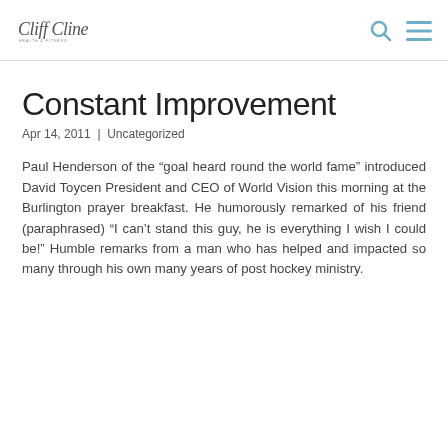Cliff Cline [logo]
Constant Improvement
Apr 14, 2011 | Uncategorized
Paul Henderson of the “goal heard round the world fame” introduced David Toycen President and CEO of World Vision this morning at the Burlington prayer breakfast. He humorously remarked of his friend (paraphrased) “I can’t stand this guy, he is everything I wish I could be!” Humble remarks from a man who has helped and impacted so many through his own many years of post hockey ministry.